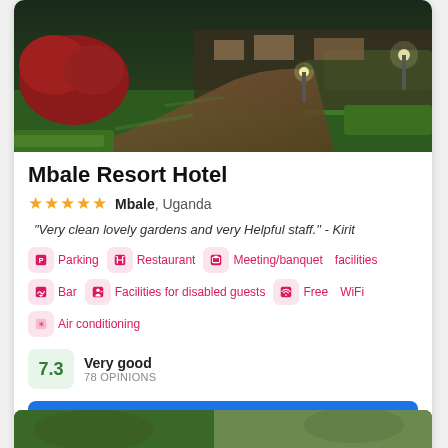[Figure (photo): Exterior photo of Mbale Resort Hotel showing a curved brick pathway with lush green hedges and garden lighting at dusk]
Mbale Resort Hotel
★★★★★  Mbale, Uganda
"Very clean lovely gardens and very Helpful staff." - Kirit
Parking  Restaurant  Meeting/banquet facilities  Bar  Facilities for disabled guests  Free WiFi  Air conditioning
7.3  Very good  78 OPINIONS
Check prices now
[Figure (photo): Partial bottom image of another hotel listing]